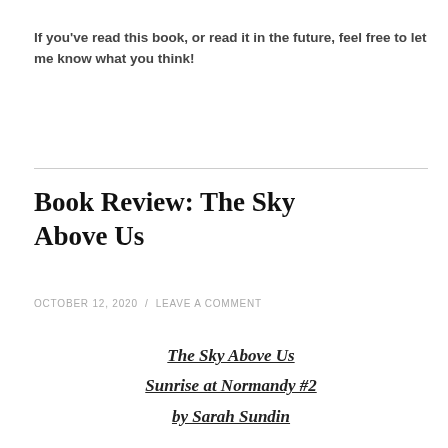If you've read this book, or read it in the future, feel free to let me know what you think!
Book Review: The Sky Above Us
OCTOBER 12, 2020 / LEAVE A COMMENT
The Sky Above Us
Sunrise at Normandy #2
by Sarah Sundin